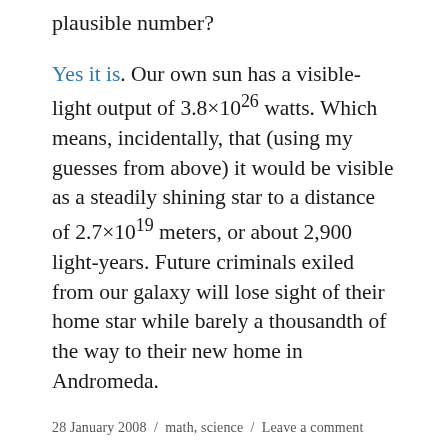plausible number?
Yes it is. Our own sun has a visible-light output of 3.8×10^26 watts. Which means, incidentally, that (using my guesses from above) it would be visible as a steadily shining star to a distance of 2.7×10^19 meters, or about 2,900 light-years. Future criminals exiled from our galaxy will lose sight of their home star while barely a thousandth of the way to their new home in Andromeda.
28 January 2008 / math, science / Leave a comment
Do the abortion math